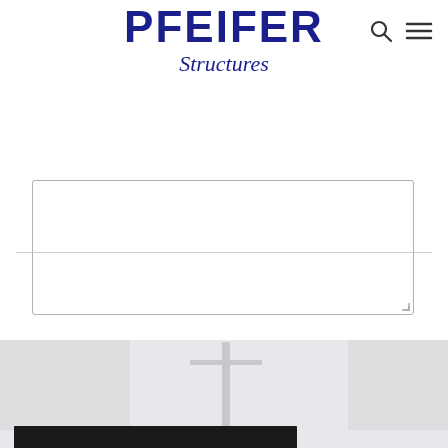[Figure (logo): PFEIFER Structures company logo with bold navy blue uppercase text 'PFEIFER' and italic 'Structures' below, plus search and menu icons]
[Figure (screenshot): Empty text area input box with light gray border and resize handle in bottom-right corner]
[Figure (illustration): Dark navy blue call-to-action button reading 'Get A Free Consultation' in white bold text]
[Figure (photo): Bottom partial image showing a structural tensile structure or mast with a vertical pole and crossbar, dark bar at bottom, gray background]